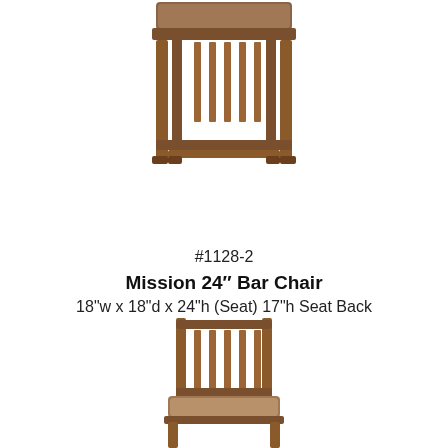[Figure (photo): Mission 24-inch bar chair viewed from the front-side angle, showing wooden frame with mission-style vertical slats and an upholstered seat in brown/tan leather.]
#1128-2
Mission 24″ Bar Chair
18"w x 18"d x 24"h (Seat) 17"h Seat Back
[Figure (photo): Mission-style wooden dining chair with vertical slat back and upholstered seat in brown leather, viewed from the front.]